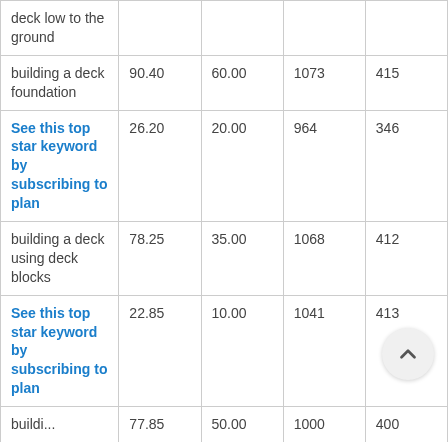| deck low to the ground |  |  |  |  |
| building a deck foundation | 90.40 | 60.00 | 1073 | 415 |
| See this top star keyword by subscribing to plan | 26.20 | 20.00 | 964 | 346 |
| building a deck using deck blocks | 78.25 | 35.00 | 1068 | 412 |
| See this top star keyword by subscribing to plan | 22.85 | 10.00 | 1041 | 413 |
| building a ... | 77.85 | 50.00 | 1000+ | 400+ |